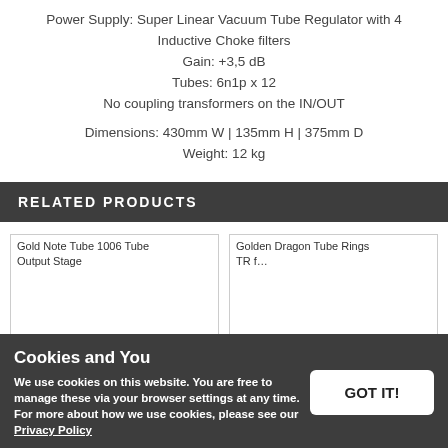Power Supply: Super Linear Vacuum Tube Regulator with 4 Inductive Choke filters
Gain: +3,5 dB
Tubes: 6n1p x 12
No coupling transformers on the IN/OUT
Dimensions: 430mm W | 135mm H | 375mm D
Weight: 12 kg
RELATED PRODUCTS
[Figure (photo): Product image placeholder - left product box (empty/white)]
[Figure (photo): Product image placeholder - right product box (empty/white)]
Gold Note Tube 1006 Tube Output Stage
Golden Dragon Tube Rings TR f...
Cookies and You
We use cookies on this website. You are free to manage these via your browser settings at any time. For more about how we use cookies, please see our Privacy Policy
GOT IT!